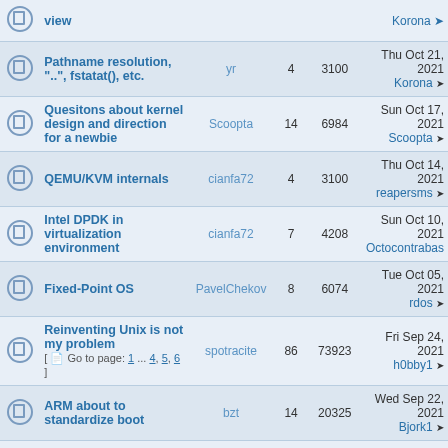|  | Topic | Author | Replies | Views | Last Post |
| --- | --- | --- | --- | --- | --- |
|  | view |  |  |  | Korona → |
|  | Pathname resolution, "..", fstatat(), etc. | yr | 4 | 3100 | Thu Oct 21, 2021 Korona → |
|  | Quesitons about kernel design and direction for a newbie | Scoopta | 14 | 6984 | Sun Oct 17, 2021 Scoopta → |
|  | QEMU/KVM internals | cianfa72 | 4 | 3100 | Thu Oct 14, 2021 reapersms → |
|  | Intel DPDK in virtualization environment | cianfa72 | 7 | 4208 | Sun Oct 10, 2021 Octocontrabas |
|  | Fixed-Point OS | PavelChekov | 8 | 6074 | Tue Oct 05, 2021 rdos → |
|  | Reinventing Unix is not my problem [ Go to page: 1 ... 4, 5, 6 ] | spotracite | 86 | 73923 | Fri Sep 24, 2021 h0bby1 → |
|  | ARM about to standardize boot | bzt | 14 | 20325 | Wed Sep 22, 2021 Bjork1 → |
|  | Single address space operating | wyattmich61 | 8 | 7107 | Fri Sep 10, 2021 eekee → |